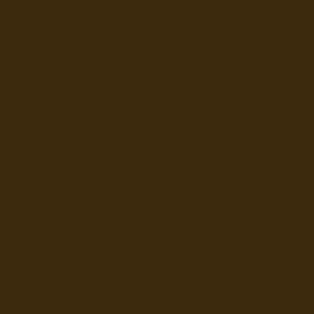Send private message
mortellan
[Figure (photo): Avatar image of mortellan showing honeycomb pattern in green and yellow tones with partial skull-like figure]
Forum Moderator
Joined: Feb 26, 2004
Posts: 2586
From: Ullinois
Send private message
interes
are hav
Geoff, S
issues.
I Miss th
Dwarf fr
Sun Jan 02
Re: Tucker
Fa
F
s
h
T
I
g
F
Yeah th
Dragon